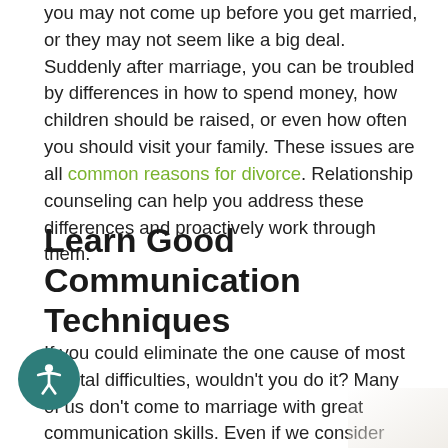you may not come up before you get married, or they may not seem like a big deal. Suddenly after marriage, you can be troubled by differences in how to spend money, how children should be raised, or even how often you should visit your family. These issues are all common reasons for divorce. Relationship counseling can help you address these differences and proactively work through them.
Learn Good Communication Techniques
If you could eliminate the one cause of most marital difficulties, wouldn't you do it? Many of us don't come to marriage with great communication skills. Even if we consider ourselves good listeners and clear communicators, our unconscious biases lead us to